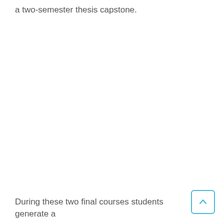a two-semester thesis capstone.
During these two final courses students generate a